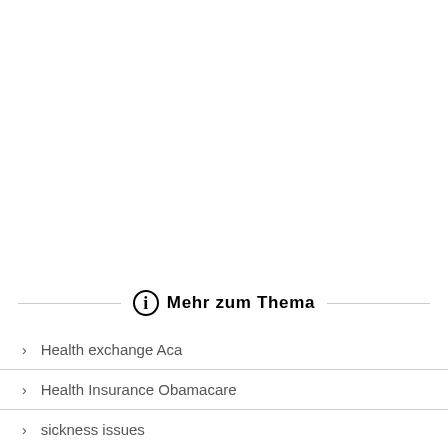Mehr zum Thema
Health exchange Aca
Health Insurance Obamacare
sickness issues
Indiana Health Insurance
Solutions for Health...